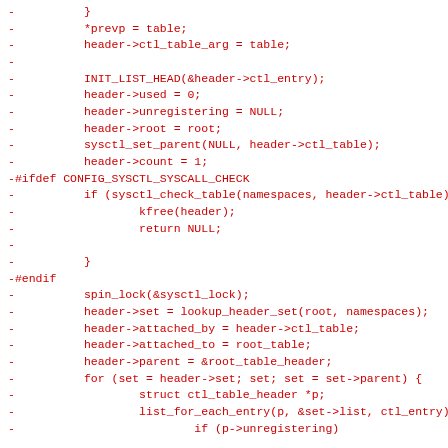Code diff showing removed lines from a Linux kernel sysctl patch